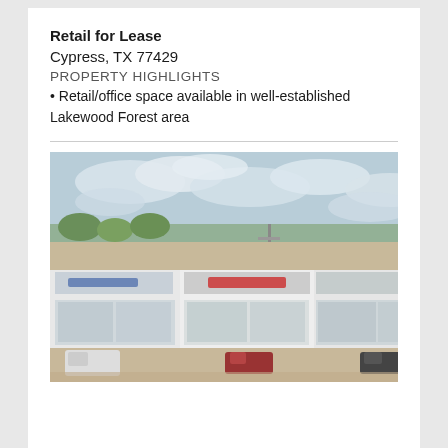Retail for Lease
Cypress, TX 77429
PROPERTY HIGHLIGHTS
Retail/office space available in well-established Lakewood Forest area
[Figure (photo): Exterior aerial view of a retail strip center with white facade, storefronts with blue and red signage, parking lot with vehicles, and cloudy sky background. Located in Cypress, TX.]